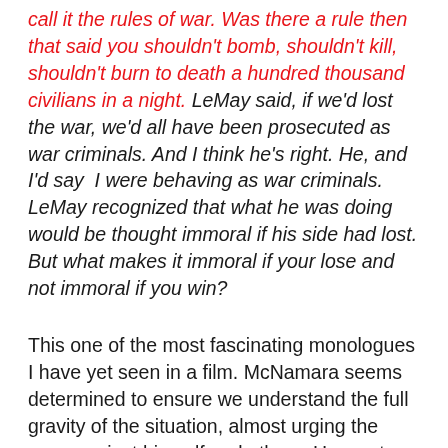call it the rules of war. Was there a rule then that said you shouldn't bomb, shouldn't kill, shouldn't burn to death a hundred thousand civilians in a night. LeMay said, if we'd lost the war, we'd all have been prosecuted as war criminals. And I think he's right. He, and I'd say I were behaving as war criminals. LeMay recognized that what he was doing would be thought immoral if his side had lost. But what makes it immoral if your lose and not immoral if you win?
This one of the most fascinating monologues I have yet seen in a film. McNamara seems determined to ensure we understand the full gravity of the situation, almost urging the case against himself and others. He wants us to know this was a terrible decision, perhaps even a crime. And yet, he builds a kind of defense into the narrative. It begins with his refusal to answer the question. He had been